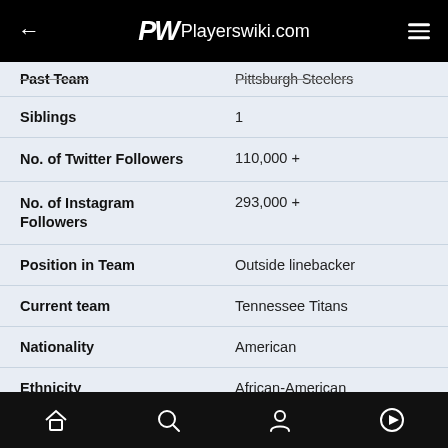Playerswiki.com
| Field | Value |
| --- | --- |
| Past Team | Pittsburgh Steelers |
| Siblings | 1 |
| No. of Twitter Followers | 110,000 + |
| No. of Instagram Followers | 293,000 + |
| Position in Team | Outside linebacker |
| Current team | Tennessee Titans |
| Nationality | American |
| Ethnicity | African-American |
| Profession | American Football Player |
| Current City | Georgia |
| University Attended | University of Kentucky |
Home | Search | Profile | Play